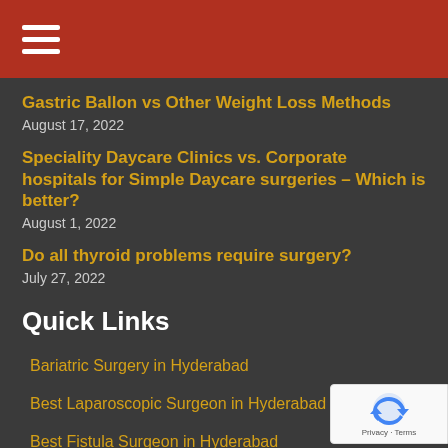≡
Gastric Ballon vs Other Weight Loss Methods
August 17, 2022
Speciality Daycare Clinics vs. Corporate hospitals for Simple Daycare surgeries – Which is better?
August 1, 2022
Do all thyroid problems require surgery?
July 27, 2022
Quick Links
Bariatric Surgery in Hyderabad
Best Laparoscopic Surgeon in Hyderabad
Best Fistula Surgeon in Hyderabad
Best Piles Surgeon in Hyderabad
[Figure (logo): reCAPTCHA badge with Privacy and Terms text]